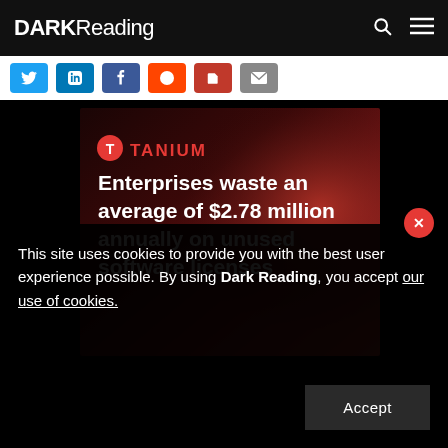DARK Reading
[Figure (screenshot): Social share buttons row: Twitter, LinkedIn, Facebook, Reddit, PDF, Email]
[Figure (infographic): Tanium advertisement banner on dark red gradient background. Tanium logo at top. Headline: Enterprises waste an average of $2.78 million annually on unused software licenses.]
This site uses cookies to provide you with the best user experience possible. By using Dark Reading, you accept our use of cookies.